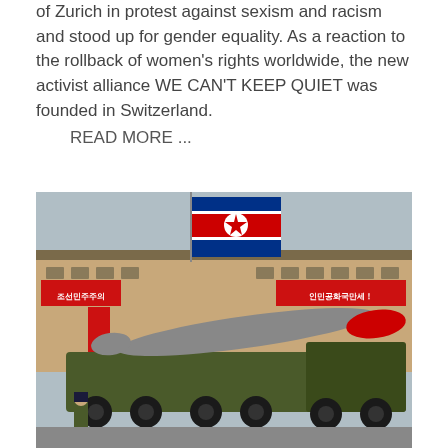of Zurich in protest against sexism and racism and stood up for gender equality. As a reaction to the rollback of women's rights worldwide, the new activist alliance WE CAN'T KEEP QUIET was founded in Switzerland.
READ MORE ...
[Figure (photo): A North Korean military parade showing a missile on a large military truck vehicle, with the North Korean flag flying and Korean text banners on a building in the background.]